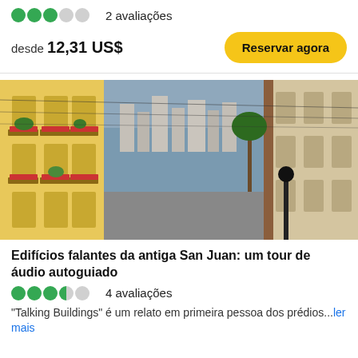●●●○○ 2 avaliações
desde 12,31 US$
Reservar agora
[Figure (photo): Street view of colorful colonial buildings in San Juan, Puerto Rico with a bay visible in the background]
Edifícios falantes da antiga San Juan: um tour de áudio autoguiado
●●●◐○○ 4 avaliações
"Talking Buildings" é um relato em primeira pessoa dos prédios...ler mais